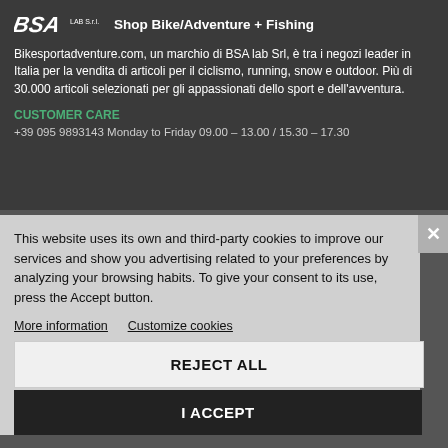[Figure (logo): BSA LAB S.r.l. logo with italic stylized letters and 'LAB S.r.l.' text]
Shop Bike/Adventure + Fishing
Bikesportadventure.com, un marchio di BSA lab Srl, è tra i negozi leader in Italia per la vendita di articoli per il ciclismo, running, snow e outdoor. Più di 30.000 articoli selezionati per gli appassionati dello sport e dell'avventura.
CUSTOMER CARE
+39 095 9893143 Monday to Friday 09.00 – 13.00 / 15.30 – 17.30
This website uses its own and third-party cookies to improve our services and show you advertising related to your preferences by analyzing your browsing habits. To give your consent to its use, press the Accept button.
More information
Customize cookies
REJECT ALL
I ACCEPT